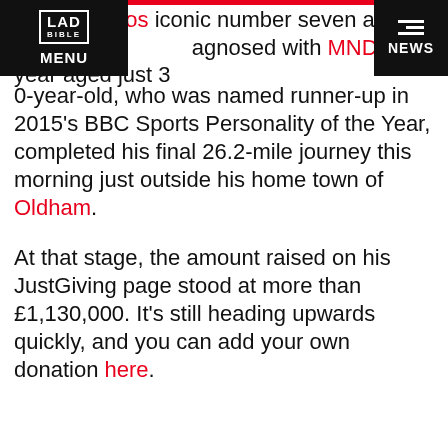LAD BIBLE MENU / NEWS
iagnosed with MND last year aged just 37. 0-year-old, who was named runner-up in 2015's BBC Sports Personality of the Year, completed his final 26.2-mile journey this morning just outside his home town of Oldham.
At that stage, the amount raised on his JustGiving page stood at more than £1,130,000. It's still heading upwards quickly, and you can add your own donation here.
ADVERT
[Figure (screenshot): Advertisement box with search bar and two list items: 1. TREATMENT FOR ARTHRITIS IN HANDS, 2. 10 COMMON SYMPTOMS OF ALS]